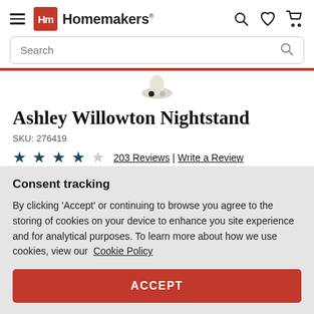Homemakers
Ashley Willowton Nightstand
SKU: 276419
★★★★☆ 203 Reviews | Write a Review
Consent tracking
By clicking 'Accept' or continuing to browse you agree to the storing of cookies on your device to enhance you site experience and for analytical purposes. To learn more about how we use cookies, view our Cookie Policy
ACCEPT